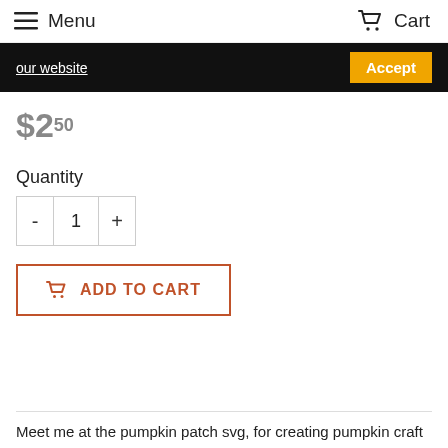Menu  Cart
our website  Accept
$2.50
Quantity
- 1 +
ADD TO CART
Meet me at the pumpkin patch svg, for creating pumpkin craft